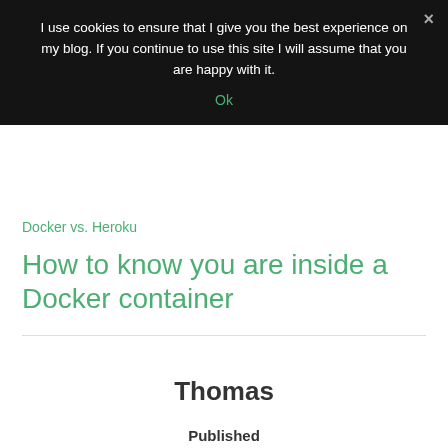I use cookies to ensure that I give you the best experience on my blog. If you continue to use this site I will assume that you are happy with it.
Ok
Docker vs. Heroku
How to know you are inside a Docker container
Thomas
Published
May 21, 2014